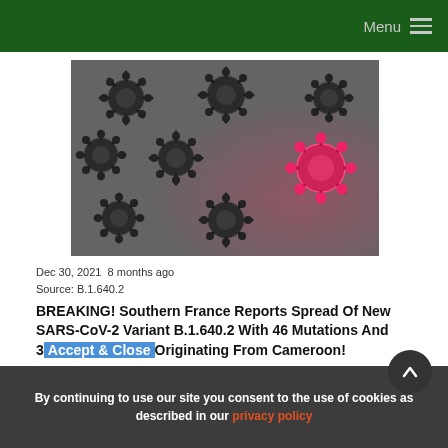Menu
[Figure (photo): Multiple coronavirus particles rendered in 3D — mostly black/grey with one highlighted in pink/red, on a dark grey background]
Dec 30, 2021  8 months ago
Source: B.1.640.2
BREAKING! Southern France Reports Spread Of New SARS-CoV-2 Variant B.1.640.2 With 46 Mutations And 37 Deletions Originating From Cameroon!
By continuing to use our site you consent to the use of cookies as described in our privacy policy